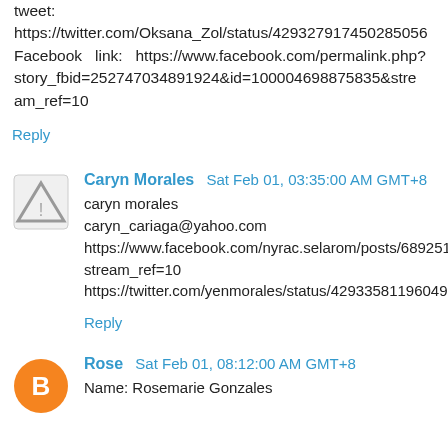tweet:
https://twitter.com/Oksana_Zol/status/429327917450285056
Facebook  link:  https://www.facebook.com/permalink.php?story_fbid=252747034891924&id=100004698875835&stream_ref=10
Reply
Caryn Morales  Sat Feb 01, 03:35:00 AM GMT+8
caryn morales
caryn_cariaga@yahoo.com
https://www.facebook.com/nyrac.selarom/posts/689251897763413?stream_ref=10
https://twitter.com/yenmorales/status/429335811960492032
Reply
Rose  Sat Feb 01, 08:12:00 AM GMT+8
Name: Rosemarie Gonzales